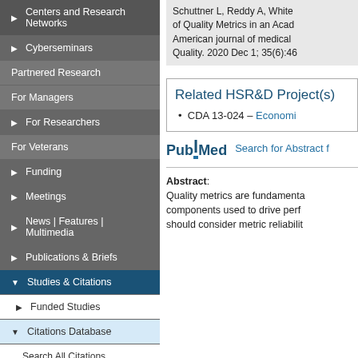Centers and Research Networks
Cyberseminars
Partnered Research
For Managers
For Researchers
For Veterans
Funding
Meetings
News | Features | Multimedia
Publications & Briefs
Studies & Citations
Funded Studies
Citations Database
Search All Citations
Schuttner L, Reddy A, White... of Quality Metrics in an Acad... American journal of medical Quality. 2020 Dec 1; 35(6):46...
Related HSR&D Project(s)
CDA 13-024 – Economi...
Search for Abstract f...
Abstract: Quality metrics are fundamenta... components used to drive perf... should consider metric reliabilit...